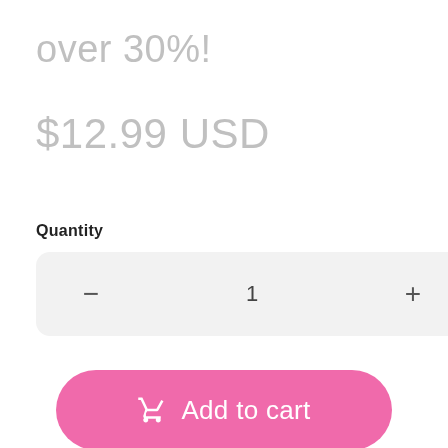over 30%!
$12.99 USD
Quantity
— 1 +
Add to cart